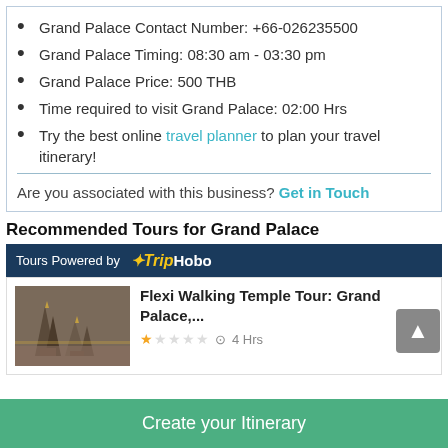Grand Palace Contact Number: +66-026235500
Grand Palace Timing: 08:30 am - 03:30 pm
Grand Palace Price: 500 THB
Time required to visit Grand Palace: 02:00 Hrs
Try the best online travel planner to plan your travel itinerary!
Are you associated with this business? Get in Touch
Recommended Tours for Grand Palace
Tours Powered by TripHobo
Flexi Walking Temple Tour: Grand Palace,... ★☆☆☆☆ 4 Hrs
Create your Itinerary